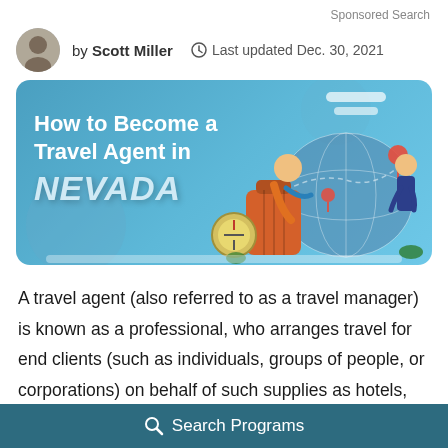Sponsored Search
by Scott Miller   Last updated Dec. 30, 2021
[Figure (illustration): Illustrated banner with blue background showing a woman sitting on luggage, a man pointing at a globe, a compass, and map pins. Text reads: How to Become a Travel Agent in NEVADA]
A travel agent (also referred to as a travel manager) is known as a professional, who arranges travel for end clients (such as individuals, groups of people, or corporations) on behalf of such supplies as hotels, airlines, railways, package tours, and others.
Search Programs